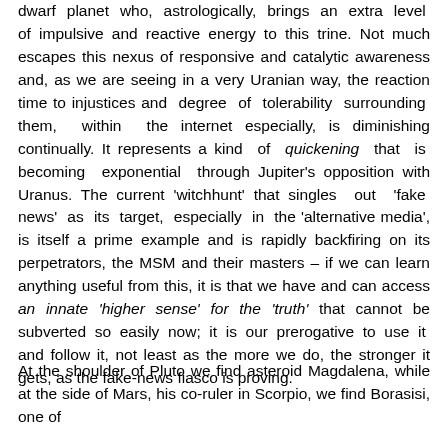dwarf planet who, astrologically, brings an extra level of impulsive and reactive energy to this trine. Not much escapes this nexus of responsive and catalytic awareness and, as we are seeing in a very Uranian way, the reaction time to injustices and degree of tolerability surrounding them, within the internet especially, is diminishing continually. It represents a kind of quickening that is becoming exponential through Jupiter's opposition with Uranus. The current 'witchhunt' that singles out 'fake news' as its target, especially in the 'alternative media', is itself a prime example and is rapidly backfiring on its perpetrators, the MSM and their masters – if we can learn anything useful from this, it is that we have and can access an innate 'higher sense' for the 'truth' that cannot be subverted so easily now; it is our prerogative to use it and follow it, not least as the more we do, the stronger it gets, as the fake-news fiasco is proving.
At the shoulder of Pluto we find asteroid Magdalena, while at the side of Mars, his co-ruler in Scorpio, we find Borasisi, one of